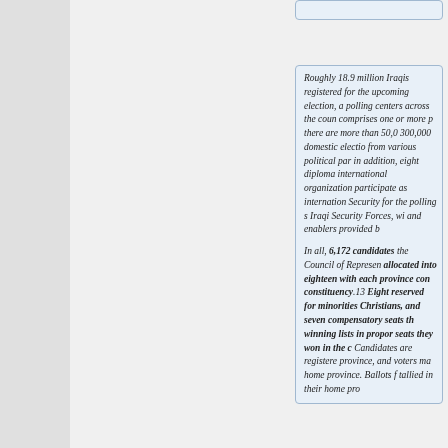Roughly 18.9 million Iraqis registered for the upcoming election, and polling centers across the country... comprises one or more polling stations, there are more than 50,000... 300,000 domestic election observers from various political parties... in addition, eight diplomats from international organizations will participate as international observers. Security for the polling sites falls on Iraqi Security Forces, with support and enablers provided by...
In all, 6,172 candidates are competing for the Council of Representatives seats, allocated into eighteen provinces, with each province constituting a constituency.13 Eight of the seats are reserved for minorities, including one for Christians, and seven of the seats are compensatory seats that are given to winning lists in proportion to the seats they won in the constituencies. Candidates are registered in their home province, and voters may only vote in their home province. Ballots for out-of-province voters are tallied in their home province.